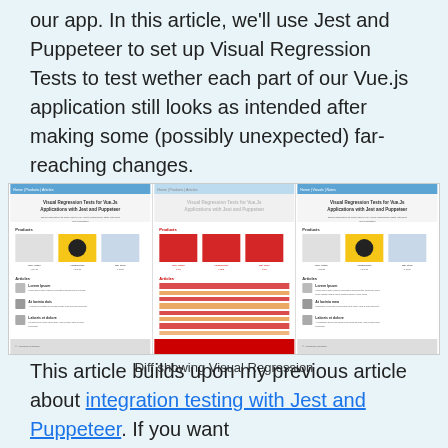our app. In this article, we'll use Jest and Puppeteer to set up Visual Regression Tests to test wether each part of our Vue.js application still looks as intended after making some (possibly unexpected) far-reaching changes.
[Figure (screenshot): Three-panel screenshot showing a visual regression diff. Left panel shows original Vue.js app with products and articles. Middle panel shows red diff overlay highlighting changes. Right panel shows the updated version of the app. Caption reads 'Diff showing Visual Regression'.]
Diff showing Visual Regression
This article builds upon my previous article about integration testing with Jest and Puppeteer. If you want